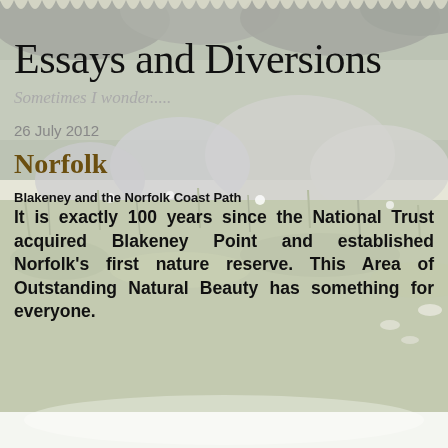[Figure (photo): Outdoor nature landscape photograph showing grassy marshland, large rounded rocks or boulders in the background, overcast sky with dark clouds, and birds visible near the ground. The image serves as a decorative background for the blog header.]
Essays and Diversions
Sometimes I wonder.....
26 July 2012
Norfolk
Blakeney and the Norfolk Coast Path
It is exactly 100 years since the National Trust acquired Blakeney Point and established Norfolk’s first nature reserve. This Area of Outstanding Natural Beauty has something for everyone.